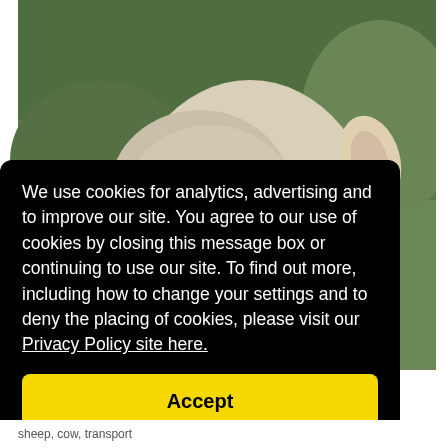[Figure (photo): Close-up photo of a sheep looking at the camera, with a green grassy background. The sheep has white wool and its face is turned toward the viewer.]
We use cookies for analytics, advertising and to improve our site. You agree to our use of cookies by closing this message box or continuing to use our site. To find out more, including how to change your settings and to deny the placing of cookies, please visit our Privacy Policy site here.
Accept
sheep, cow, transport